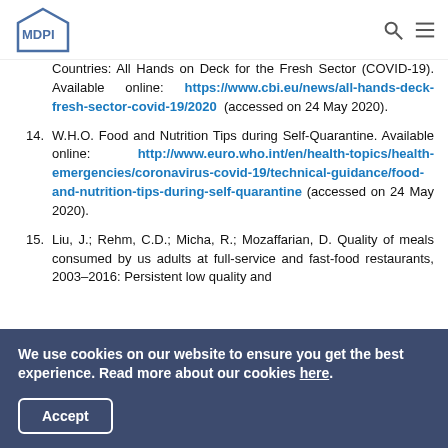MDPI
Countries: All Hands on Deck for the Fresh Sector (COVID-19). Available online: https://www.cbi.eu/news/all-hands-deck-fresh-sector-covid-19/2020 (accessed on 24 May 2020).
14. W.H.O. Food and Nutrition Tips during Self-Quarantine. Available online: http://www.euro.who.int/en/health-topics/health-emergencies/coronavirus-covid-19/technical-guidance/food-and-nutrition-tips-during-self-quarantine (accessed on 24 May 2020).
15. Liu, J.; Rehm, C.D.; Micha, R.; Mozaffarian, D. Quality of meals consumed by us adults at full-service and fast-food restaurants, 2003–2016: Persistent low quality and
We use cookies on our website to ensure you get the best experience. Read more about our cookies here.
Accept